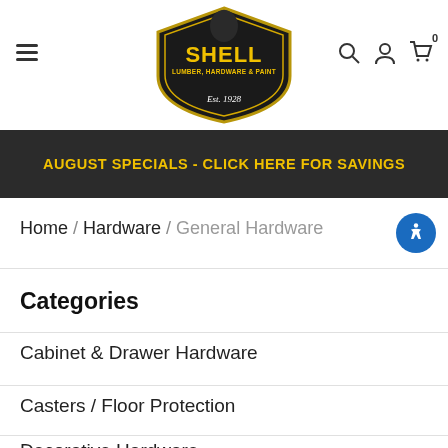[Figure (logo): Shell Lumber, Hardware & Paint logo — black shield shape with yellow text 'SHELL', 'LUMBER, HARDWARE & PAINT', and 'Est. 1928' in script below]
Shell Lumber, Hardware & Paint website header with hamburger menu, logo, search icon, account icon, and cart icon (0 items)
AUGUST SPECIALS - CLICK HERE FOR SAVINGS
Home / Hardware / General Hardware
Categories
Cabinet & Drawer Hardware
Casters / Floor Protection
Decorative Hardware